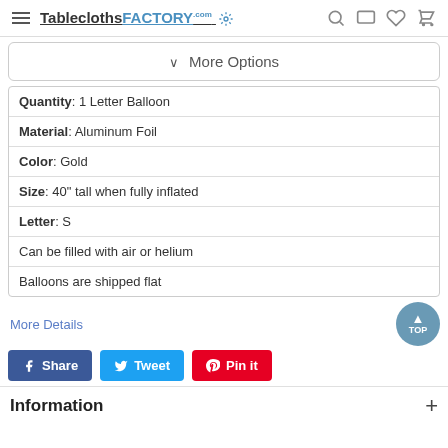TableclothsFACTORY.com
∨ More Options
| Quantity: 1 Letter Balloon |
| Material: Aluminum Foil |
| Color: Gold |
| Size: 40" tall when fully inflated |
| Letter: S |
| Can be filled with air or helium |
| Balloons are shipped flat |
More Details
[Figure (other): TOP scroll-to-top button]
Share   Tweet   Pin it
Information +